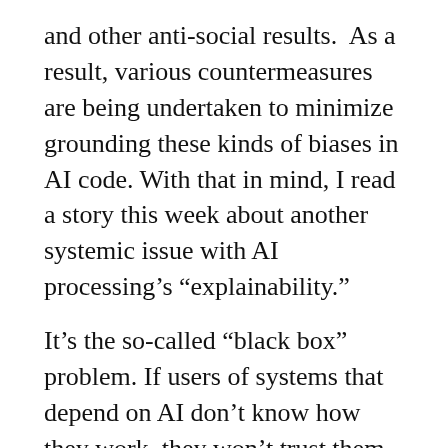and other anti-social results.  As a result, various countermeasures are being undertaken to minimize grounding these kinds of biases in AI code. With that in mind, I read a story this week about another systemic issue with AI processing's “explainability.”
It’s the so-called “black box” problem. If users of systems that depend on AI don’t know how they work, they won’t trust them. Unfortunately, one of the prime advantages of AI is that it solves problems that are not easily understood by users, which presents the quandary that AI-based systems might need to be “dumbed-down” so that the humans using them can understand and then trust them. Of